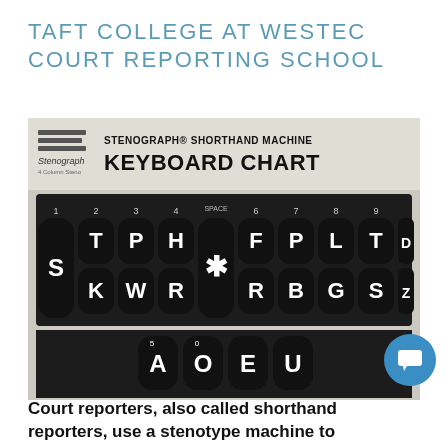TAFT COLLEGE AT WESTEC COURT REPORTING SCHOOL
[Figure (illustration): Stenograph Shorthand Machine Keyboard Chart showing stenotype keyboard layout with keys labeled S, T, K, P, W, H, R, asterisk, F, R, P, B, L, G, T, S, D, Z and vowel keys A, O, E, U arranged in the standard stenotype pattern. Column numbers 1-9 and SPACE are marked at top.]
Court reporters, also called shorthand reporters, use a stenotype machine to